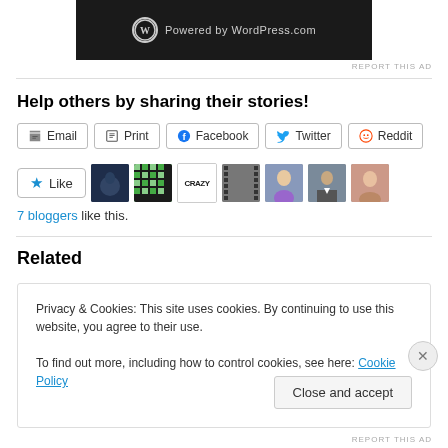[Figure (screenshot): WordPress.com powered banner in dark background]
REPORT THIS AD
Help others by sharing their stories!
[Figure (screenshot): Share buttons: Email, Print, Facebook, Twitter, Reddit]
[Figure (screenshot): Like button with star and 7 blogger avatars]
7 bloggers like this.
Related
Privacy & Cookies: This site uses cookies. By continuing to use this website, you agree to their use. To find out more, including how to control cookies, see here: Cookie Policy